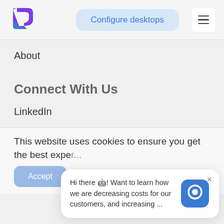[Figure (logo): Purple and blue arrow/letter P logo]
Configure desktops
[Figure (other): Hamburger menu icon (three horizontal lines)]
About
Connect With Us
LinkedIn
Instagram
Facebook
This website uses cookies to ensure you get the best expe...
Hi there 🤖! Want to learn how we are decreasing costs for our customers, and increasing ...